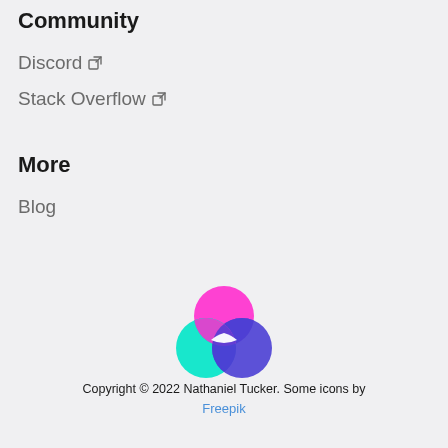Community
Discord ↗
Stack Overflow ↗
More
Blog
[Figure (logo): Three overlapping circles forming a Venn diagram logo with magenta/pink, cyan/turquoise, and purple/indigo colors with white intersection area]
Copyright © 2022 Nathaniel Tucker. Some icons by Freepik